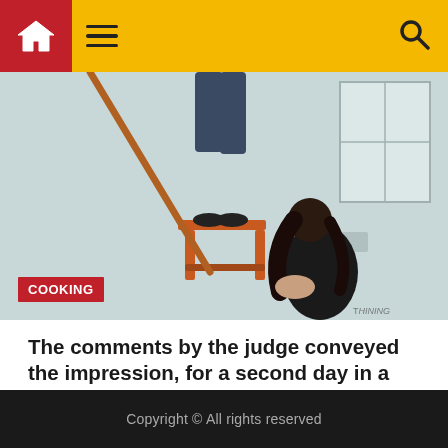Navigation bar with home, menu, and search icons
[Figure (photo): A person standing on an orange stool or ladder while a woman with long dark hair sits on the floor nearby in a room with light-colored walls and windows. A stick or pole leans against the wall.]
COOKING
The comments by the judge conveyed the impression, for a second day in a row, that the U.S. case against Meng Wanzhou faces challenges in winning judicial approval
Copyright © All rights reserved